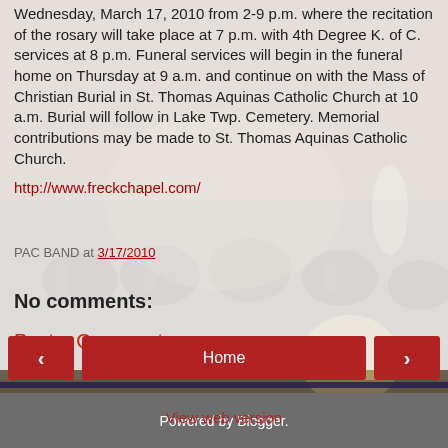Wednesday, March 17, 2010 from 2-9 p.m. where the recitation of the rosary will take place at 7 p.m. with 4th Degree K. of C. services at 8 p.m. Funeral services will begin in the funeral home on Thursday at 9 a.m. and continue on with the Mass of Christian Burial in St. Thomas Aquinas Catholic Church at 10 a.m. Burial will follow in Lake Twp. Cemetery. Memorial contributions may be made to St. Thomas Aquinas Catholic Church.
http://www.freckchapel.com/
PAC BAND at 3/17/2010
No comments:
Post a Comment
[Figure (photo): Background photo showing an outdoor band concert with musicians seated, some with brass instruments visible, and a conductor/speaker standing at front. Warm evening light.]
Home
View web version
Powered by Blogger.